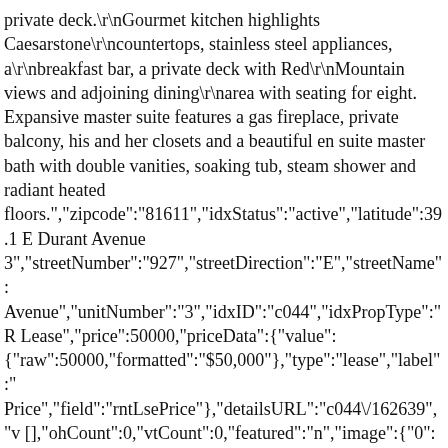private deck.\r\nGourmet kitchen highlights Caesarstone\r\ncountertops, stainless steel appliances, a\r\nbreakfast bar, a private deck with Red\r\nMountain views and adjoining dining\r\narea with seating for eight. Expansive master suite features a gas fireplace, private balcony, his and her closets and a beautiful en suite master bath with double vanities, soaking tub, steam shower and radiant heated floors.","zipcode":"81611","idxStatus":"active","latitude":39.1 E Durant Avenue 3","streetNumber":"927","streetDirection":"E","streetName": Avenue","unitNumber":"3","idxID":"c044","idxPropType":"R Lease","price":50000,"priceData":{"value": {"raw":50000,"formatted":"$50,000"},"type":"lease","label":" Price","field":"rntLsePrice"},"detailsURL":"c044\/162639","v []},"ohCount":0,"vtCount":0,"featured":"n","image":{"0": {"url":"https:\/\/cdn.photos.sparkplatform.com\/ags\/20200108 o.jpg","caption":"927eDurant3_HiRes004"},"1":